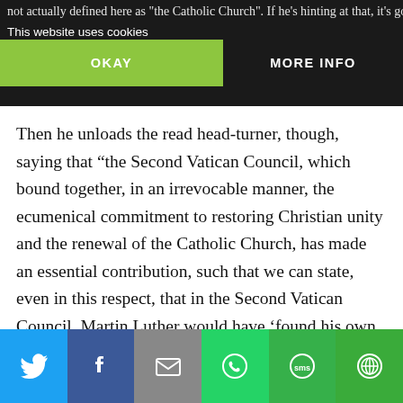not actually defined here as "the Catholic Church". If he’s hinting at that, it’s good news, but odd,
This website uses cookies
OKAY    MORE INFO
cal climate… Barna…
Then he unloads the read head-turner, though, saying that “the Second Vatican Council, which bound together, in an irrevocable manner, the ecumenical commitment to restoring Christian unity and the renewal of the Catholic Church, has made an essential contribution, such that we can state, even in this respect, that in the Second Vatican Council, Martin Luther would have ‘found his own council.’ The council would have appealed to him in the time in which he lived.”
[Figure (infographic): Social sharing bar with Twitter, Facebook, Email, WhatsApp, SMS, and More buttons]